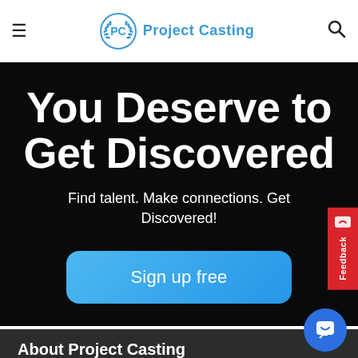Project Casting
You Deserve to Get Discovered
Find talent. Make connections. Get Discovered!
Sign up free
About Project Casting
Becoming an actor, model, or performer is tough. Filled investments. You are forced to invest your time, family even your wallet to make your dream come true. Find the latest movie casting calls, TV auditions, Modeling jobs, acting